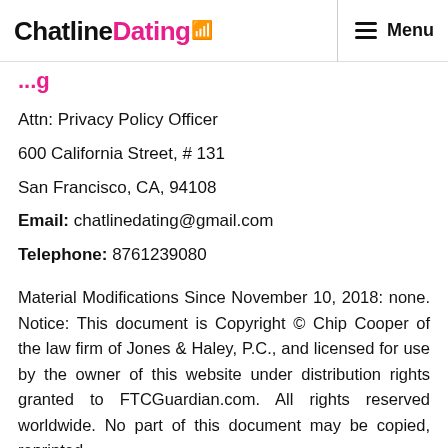ChatlineDating Menu
...g
Attn: Privacy Policy Officer
600 California Street, # 131
San Francisco, CA, 94108
Email: chatlinedating@gmail.com
Telephone: 8761239080
Material Modifications Since November 10, 2018: none. Notice: This document is Copyright © Chip Cooper of the law firm of Jones & Haley, P.C., and licensed for use by the owner of this website under distribution rights granted to FTCGuardian.com. All rights reserved worldwide. No part of this document may be copied, reprinted,